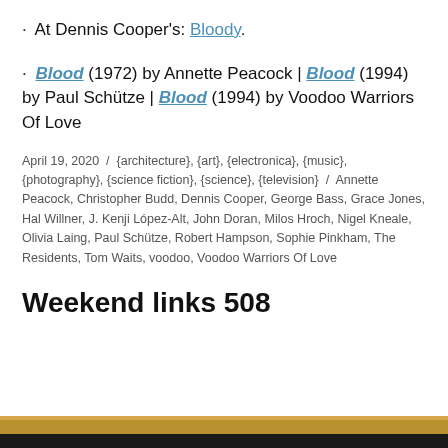· At Dennis Cooper's: Bloody.
· Blood (1972) by Annette Peacock | Blood (1994) by Paul Schütze | Blood (1994) by Voodoo Warriors Of Love
April 19, 2020 / {architecture}, {art}, {electronica}, {music}, {photography}, {science fiction}, {science}, {television} / Annette Peacock, Christopher Budd, Dennis Cooper, George Bass, Grace Jones, Hal Willner, J. Kenji López-Alt, John Doran, Milos Hroch, Nigel Kneale, Olivia Laing, Paul Schütze, Robert Hampson, Sophie Pinkham, The Residents, Tom Waits, voodoo, Voodoo Warriors Of Love
Weekend links 508